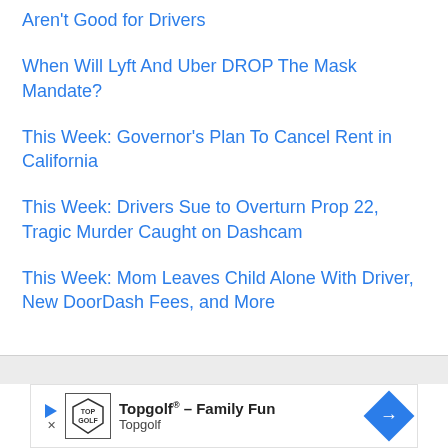Aren't Good for Drivers
When Will Lyft And Uber DROP The Mask Mandate?
This Week: Governor's Plan To Cancel Rent in California
This Week: Drivers Sue to Overturn Prop 22, Tragic Murder Caught on Dashcam
This Week: Mom Leaves Child Alone With Driver, New DoorDash Fees, and More
[Figure (infographic): Advertisement banner for Topgolf showing logo, text 'Topgolf® - Family Fun Topgolf', play button, close button, and blue diamond arrow icon]